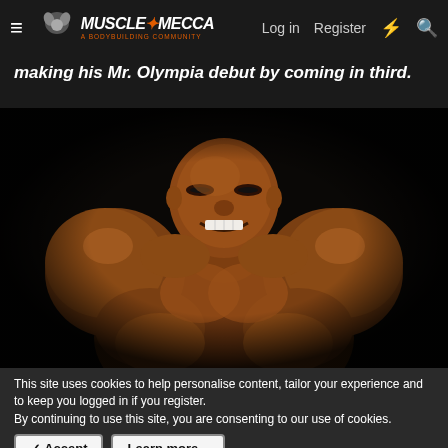≡  MUSCLE MECCA  Log in  Register
making his Mr. Olympia debut by coming in third.
[Figure (photo): A muscular male bodybuilder posing against a black background, flexing his muscles with an intense expression]
This site uses cookies to help personalise content, tailor your experience and to keep you logged in if you register.
By continuing to use this site, you are consenting to our use of cookies.
✓ Accept  Learn more...